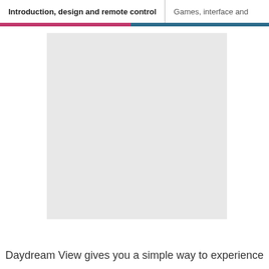Introduction, design and remote control | Games, interface and
[Figure (photo): A light grey rectangular image placeholder occupying the center of the page]
Daydream View gives you a simple way to experience